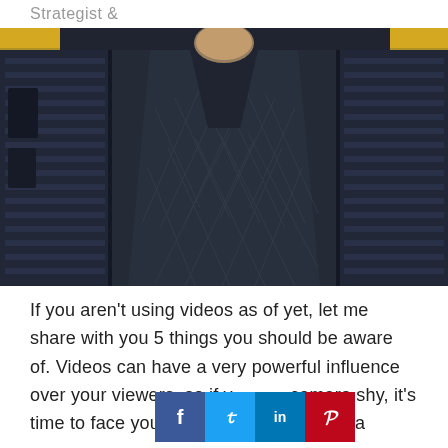Strategist &
[Figure (illustration): Dark toned illustration of a figure wearing a detailed jacket with diamond/crosshatch pattern, surrounded by shelves or vertical panels in a muted blue-gray color scheme. Yellow accents visible at top corners.]
If you aren't using videos as of yet, let me share with you 5 things you should be aware of. Videos can have a very powerful influence over your viewers, so if y camera shy, it's time to face your fears, stand in front of a